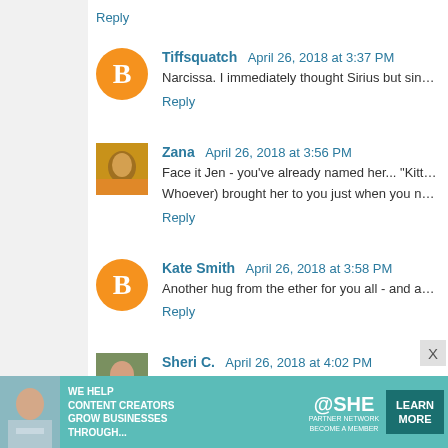Reply
Tiffsquatch April 26, 2018 at 3:37 PM
Narcissa. I immediately thought Sirius but since she's a girl...
Reply
Zana April 26, 2018 at 3:56 PM
Face it Jen - you've already named her... "Kitten". Think... (Whoever) brought her to you just when you needed her mo...
Reply
Kate Smith April 26, 2018 at 3:58 PM
Another hug from the ether for you all - and another vote fo...
Reply
Sheri C. April 26, 2018 at 4:02 PM
Ultraviolet? Since that's another name for black light...
[Figure (infographic): SHE Media Partner Network advertisement banner: WE HELP CONTENT CREATORS GROW BUSINESSES THROUGH... with LEARN MORE button]